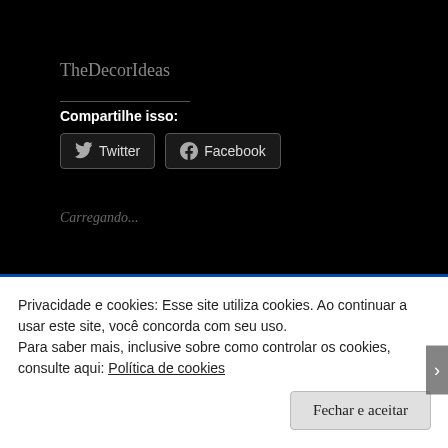TheDecorIdeas
Compartilhe isso:
[Figure (screenshot): Twitter and Facebook social share buttons on dark background]
Carregando...
Relacionado
Privacidade e cookies: Esse site utiliza cookies. Ao continuar a usar este site, você concorda com seu uso.
Para saber mais, inclusive sobre como controlar os cookies, consulte aqui: Política de cookies
Fechar e aceitar